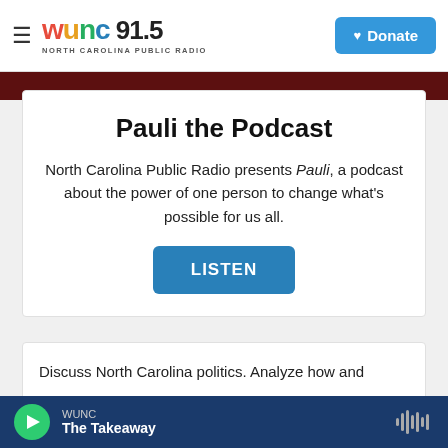WUNC 91.5 North Carolina Public Radio — Donate
[Figure (screenshot): Dark red banner strip below header]
Pauli the Podcast
North Carolina Public Radio presents Pauli, a podcast about the power of one person to change what's possible for us all.
LISTEN
Discuss North Carolina politics. Analyze how and
WUNC — The Takeaway